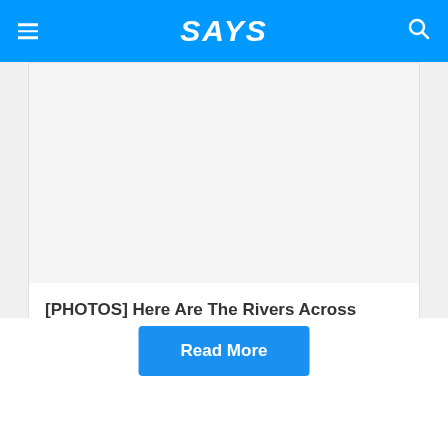SAYS
[Figure (screenshot): Article card with blank image area above article text]
[PHOTOS] Here Are The Rivers Across Malaysia That Are Now Cleaner Due To MCO
Read More